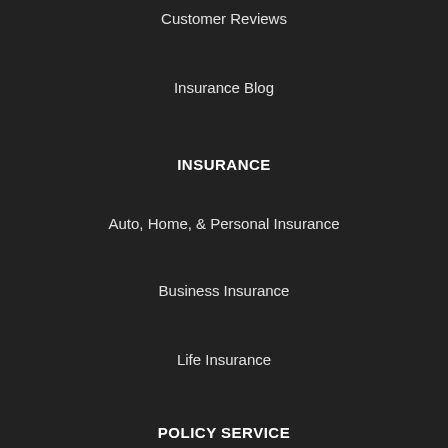Customer Reviews
Insurance Blog
INSURANCE
Auto, Home, & Personal Insurance
Business Insurance
Life Insurance
POLICY SERVICE
Policy Service Center